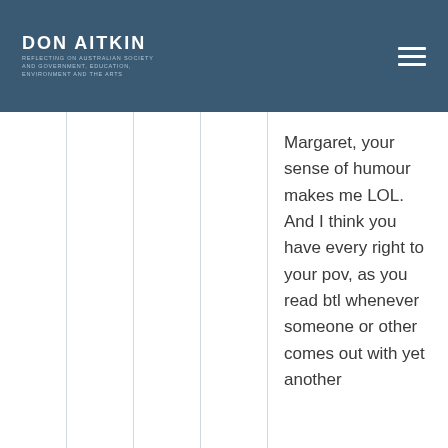DON AITKIN
Margaret, your sense of humour makes me LOL. And I think you have every right to your pov, as you read btl whenever someone or other comes out with yet another